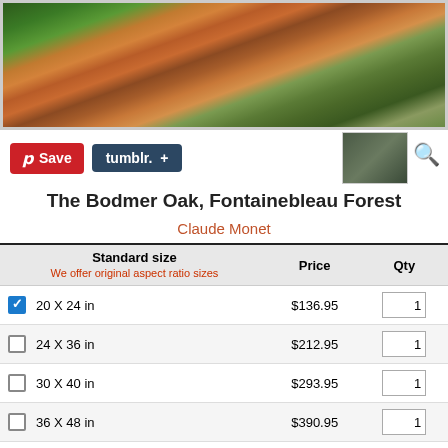[Figure (photo): Painting of The Bodmer Oak, Fontainebleau Forest by Claude Monet, showing a forest scene with autumn colors, tall trees, and reddish-brown foliage]
[Figure (screenshot): Pinterest Save button (red) and Tumblr button (dark blue) for social sharing, plus small room preview thumbnail and magnifier icon]
The Bodmer Oak, Fontainebleau Forest
Claude Monet
| Standard size
We offer original aspect ratio sizes | Price | Qty |
| --- | --- | --- |
| 20 X 24 in | $136.95 | 1 |
| 24 X 36 in | $212.95 | 1 |
| 30 X 40 in | $293.95 | 1 |
| 36 X 48 in | $390.95 | 1 |
| 48 X 72 in | $759.95 | 1 |
If listed sizes are not in proportion to the original, don't worry, just choose which size is similar to